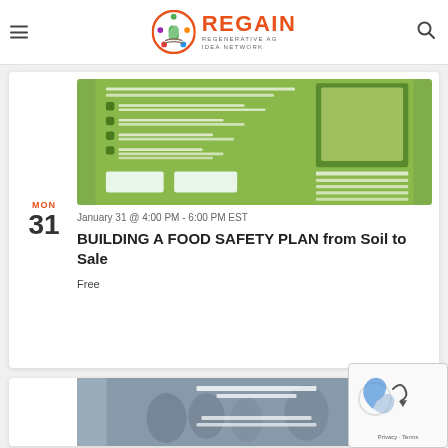[Figure (logo): REGAIN Regenerative Ag Idea Network logo with circular emblem]
[Figure (photo): Food safety plan event flyer showing green background with text about building a food safety plan, with logos of Chesapeake Harvest and National Farmers Union]
MON
31
January 31 @ 4:00 PM - 6:00 PM EST
BUILDING A FOOD SAFETY PLAN from Soil to Sale
Free
[Figure (photo): Second event image showing people at an outdoor gathering, Monday January 31, 7:30-8:30pm]